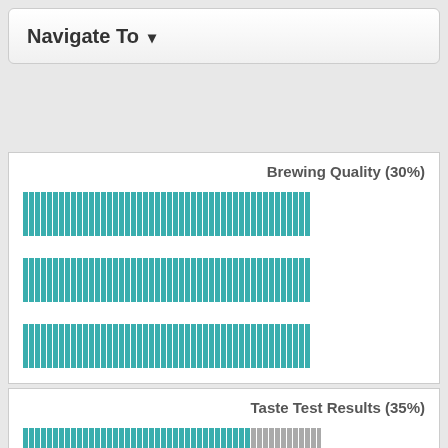Navigate To ▾
Brewing Quality (30%)
[Figure (other): Three teal vertical bar chart rows for Brewing Quality (30%), each bar group showing dense vertical teal stripes spanning full width]
Taste Test Results (35%)
[Figure (other): Three horizontal bar groups for Taste Test Results (35%), each showing teal bars on left and grey bars on right indicating partial fill]